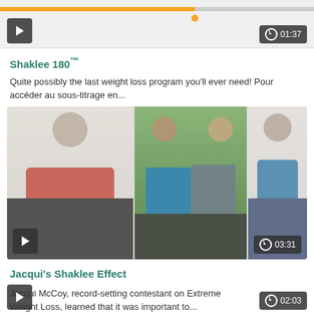[Figure (screenshot): Video player bar with orange progress bar, play button on left, duration 01:37 on right]
Shaklee 180™
Quite possibly the last weight loss program you'll ever need! Pour accéder au sous-titrage en...
[Figure (photo): Photo collage of three weight loss before/after images: woman in red top, couple outdoors, woman in blue top. Play button and duration 03:31 shown.]
Jacqui's Shaklee Effect
Jacqui McCoy, record-setting contestant on Extreme Weight Loss, learned that it was important to...